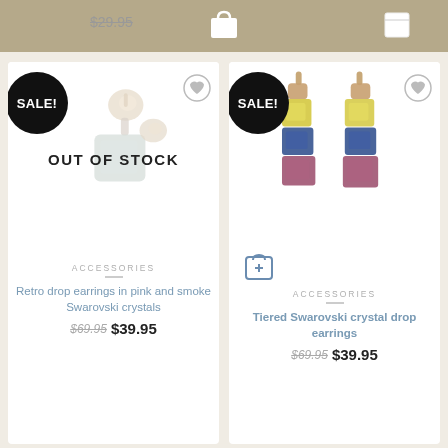$29.95
[Figure (photo): Product card for retro drop earrings with OUT OF STOCK overlay, SALE badge, wishlist icon]
[Figure (photo): Product card for tiered Swarovski crystal drop earrings, SALE badge, wishlist icon, add to cart icon]
ACCESSORIES
Retro drop earrings in pink and smoke Swarovski crystals
$69.95 $39.95
ACCESSORIES
Tiered Swarovski crystal drop earrings
$69.95 $39.95